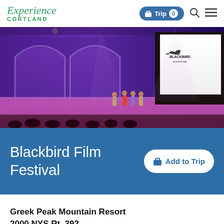Experience Cortland | Trip 0 [search] [menu]
[Figure (photo): Event photo showing the Blackbird Film Festival on stage in a large auditorium with purple/blue lighting, performers on stage, audience silhouettes, and a large projection screen displaying the Blackbird Film Festival logo]
Blackbird Film Festival
Add to Trip
Greek Peak Mountain Resort
2000 NYS Rt. 392